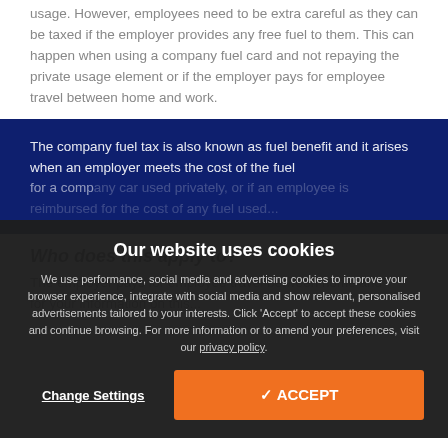usage. However, employees need to be extra careful as they can be taxed if the employer provides any free fuel to them. This can happen when using a company fuel card and not repaying the private usage element or if the employer pays for employee travel between home and work.
The company fuel tax is also known as fuel benefit and it arises when an employer meets the cost of the fuel for a company car used privately, or if an employee is reimbursed for the cost of any fuel used...
Who does this apply to?
The employer pays for employee travel between home and...
Our website uses cookies

We use performance, social media and advertising cookies to improve your browser experience, integrate with social media and show relevant, personalised advertisements tailored to your interests. Click 'Accept' to accept these cookies and continue browsing. For more information or to amend your preferences, visit our privacy policy.